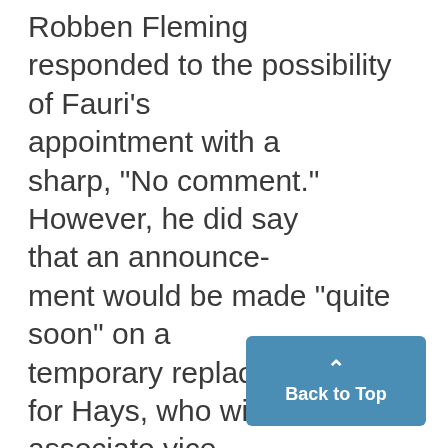Robben Fleming responded to the possibility of Fauri's appointment with a sharp, "No comment." However, he did say that an announcement would be made "quite soon" on a temporary replacement for Hays, who will become associate vice president for academic development upon his return to the University. Earlier reports said that Sussman had turned down the post of acting dean in order to